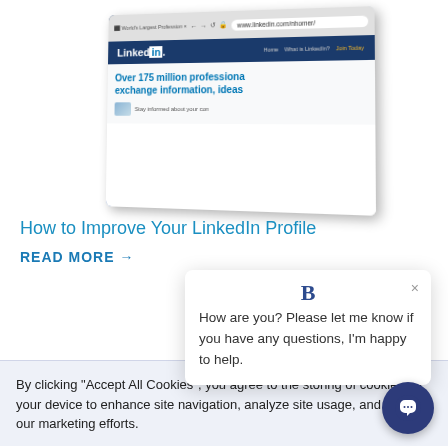[Figure (screenshot): LinkedIn website screenshot shown in a browser window with perspective tilt. Shows LinkedIn logo, navigation bar, URL www.linkedin.com/nhomer, and text 'Over 175 million professionals exchange information, ideas' with 'Stay informed about your con']
How to Improve Your LinkedIn Profile
READ MORE →
[Figure (screenshot): Chat popup widget with bold 'B' logo at top, close X button, and message: 'How are you? Please let me know if you have any questions, I'm happy to help.']
[Figure (photo): Partial photo of a person near plants/foliage in the bottom left area]
By clicking "Accept All Cookies", you agree to the storing of cookies on your device to enhance site navigation, analyze site usage, and assist in our marketing efforts.
[Figure (illustration): Dark navy circular chat button icon in bottom right corner]